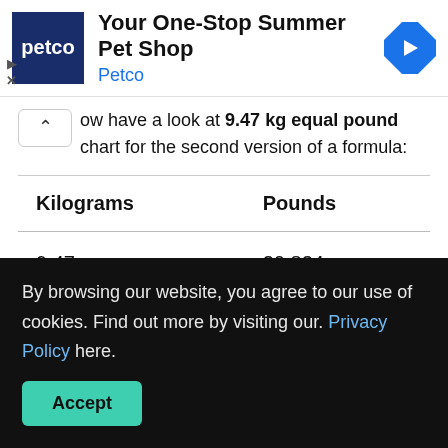[Figure (other): Petco advertisement banner with logo, title 'Your One-Stop Summer Pet Shop', brand name 'Petco', and a blue navigation arrow icon]
ow have a look at 9.47 kg equal pound chart for the second version of a formula:
| Kilograms | Pounds |
| --- | --- |
| 9.47 | 20.834 |
By browsing our website, you agree to our use of cookies. Find out more by visiting our. Privacy Policy here.